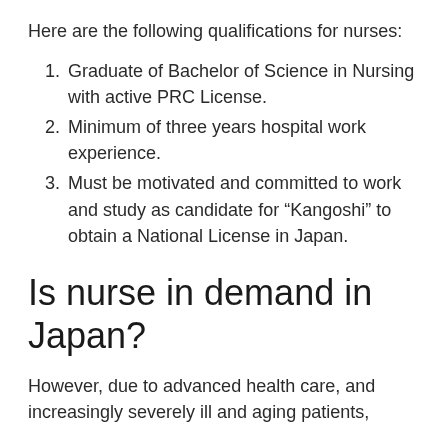Here are the following qualifications for nurses:
Graduate of Bachelor of Science in Nursing with active PRC License.
Minimum of three years hospital work experience.
Must be motivated and committed to work and study as candidate for “Kangoshi” to obtain a National License in Japan.
Is nurse in demand in Japan?
However, due to advanced health care, and increasingly severely ill and aging patients,